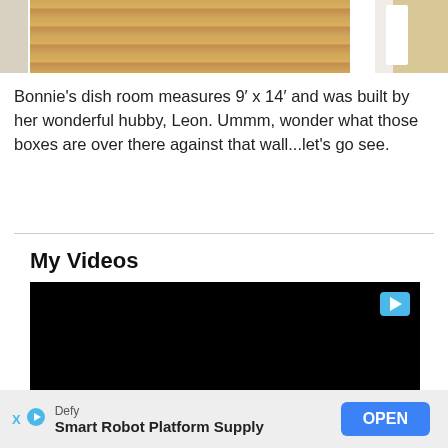[Figure (photo): Photo of a wooden storage structure with wood-panel texture, white wall on left, white decorative frame on right, and yellow wall background]
Bonnie's dish room measures 9' x 14' and was built by her wonderful hubby, Leon. Ummm, wonder what those boxes are over there against that wall...let's go see.
My Videos
[Figure (screenshot): Black video player rectangle with a blue play button icon in the top right corner]
Defy
Smart Robot Platform Supply
OPEN